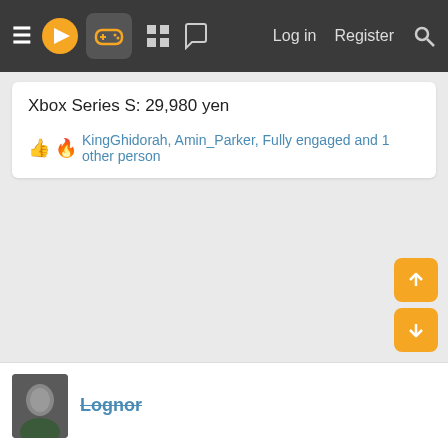☰ [logo] [gamepad icon] [grid icon] [chat icon]   Log in   Register   🔍
Xbox Series S: 29,980 yen
👍 🔥 KingGhidorah, Amin_Parker, Fully engaged and 1 other person
Lognor